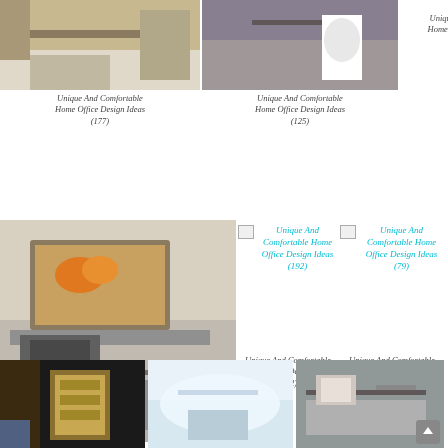[Figure (photo): Home office with desk and chair, warm tones]
[Figure (photo): Modern home office with white chair and dark desk]
Unique And Comfortable Home Office Design Ideas (15)
Unique And Comfortable Home Office Design Ideas (177)
Unique And Comfortable Home Office Design Ideas (125)
Unique And Comfortable Home Office Design Ideas (15)
[Figure (photo): Home office with corner desk and artwork on wall]
[Figure (photo): Broken image placeholder - Unique And Comfortable Home Office Design Ideas (192)]
[Figure (photo): Broken image placeholder - Unique And Comfortable Home Office Design Ideas (79)]
Unique And Comfortable Home Office Design Ideas (52)
Unique And Comfortable Home Office Design Ideas (192)
Unique And Comfortable Home Office Design Ideas (79)
[Figure (photo): Interior with wooden panels and lighting]
[Figure (photo): Light interior ceiling view]
[Figure (photo): Home office with wall-mounted TV stand]